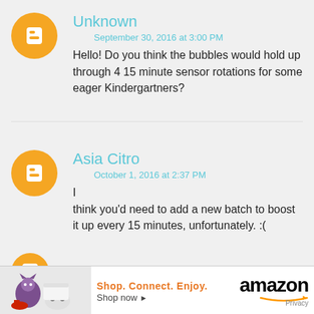Unknown
September 30, 2016 at 3:00 PM
Hello! Do you think the bubbles would hold up through 4 15 minute sensor rotations for some eager Kindergartners?
Asia Citro
October 1, 2016 at 2:37 PM
I think you'd need to add a new batch to boost it up every 15 minutes, unfortunately. :(
[Figure (infographic): Amazon advertisement banner with shopping items image, 'Shop. Connect. Enjoy.' slogan, 'Shop now' CTA, Amazon logo and Privacy link]